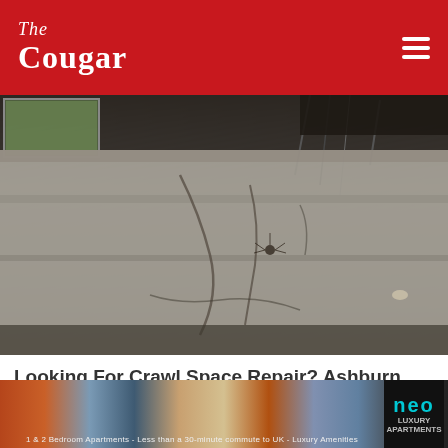The Cougar
[Figure (photo): Crawl space showing cracked and deteriorating concrete foundation wall with wires hanging from above and a small window visible in the upper left]
Looking For Crawl Space Repair? Ashburn Residents Could Benefit From 2021 Prices
Home Foundation Repair | Search Ads
[Figure (photo): Bottom banner advertisement for neo apartments showing people and lifestyle images, with text '1 & 2 Bedroom Apartments - Less than a 30-minute commute to UK - Luxury Amenities']
[Figure (photo): Partial view of a second article thumbnail showing a person with blonde hair]